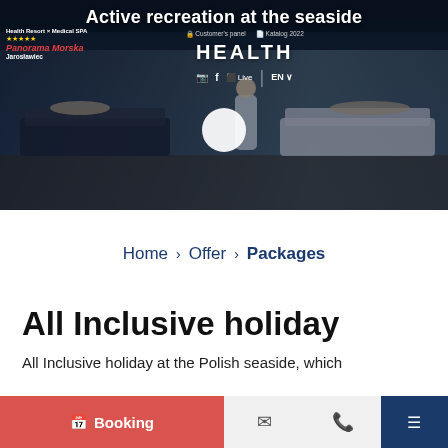[Figure (screenshot): Hero banner of Health Resort & Medical SPA Panorama Morska Jarosławiec website showing a medical spa treatment room with patients lying on beds and a healthcare worker, overlaid with navigation and title text]
Active recreation at the seaside
Customer's panel  Katalog 2022  Health Resort × Medical SPA  Panorama Morska  Jarosławiec  HEALTH  Live  EN
Home > Offer > Packages
All Inclusive holiday
All Inclusive holiday at the Polish seaside, which